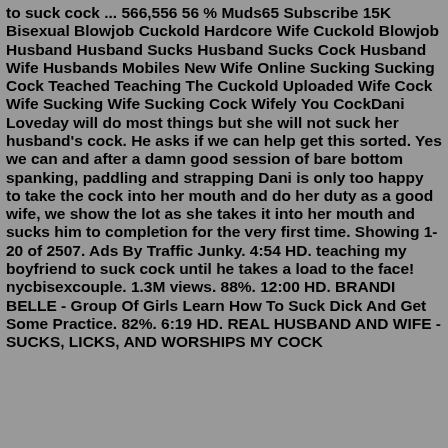to suck cock ... 566,556 56 % Muds65 Subscribe 15K Bisexual Blowjob Cuckold Hardcore Wife Cuckold Blowjob Husband Husband Sucks Husband Sucks Cock Husband Wife Husbands Mobiles New Wife Online Sucking Sucking Cock Teached Teaching The Cuckold Uploaded Wife Cock Wife Sucking Wife Sucking Cock Wifely You CockDani Loveday will do most things but she will not suck her husband's cock. He asks if we can help get this sorted. Yes we can and after a damn good session of bare bottom spanking, paddling and strapping Dani is only too happy to take the cock into her mouth and do her duty as a good wife, we show the lot as she takes it into her mouth and sucks him to completion for the very first time. Showing 1-20 of 2507. Ads By Traffic Junky. 4:54 HD. teaching my boyfriend to suck cock until he takes a load to the face! nycbisexcouple. 1.3M views. 88%. 12:00 HD. BRANDI BELLE - Group Of Girls Learn How To Suck Dick And Get Some Practice. 82%. 6:19 HD. REAL HUSBAND AND WIFE - SUCKS, LICKS, AND WORSHIPS MY COCK